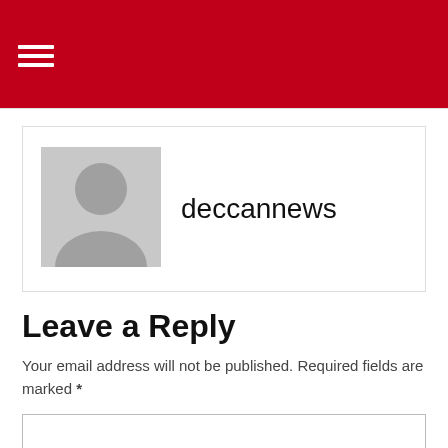≡
[Figure (illustration): Author avatar placeholder with grey silhouette figure]
deccannews
Leave a Reply
Your email address will not be published. Required fields are marked *
Comment